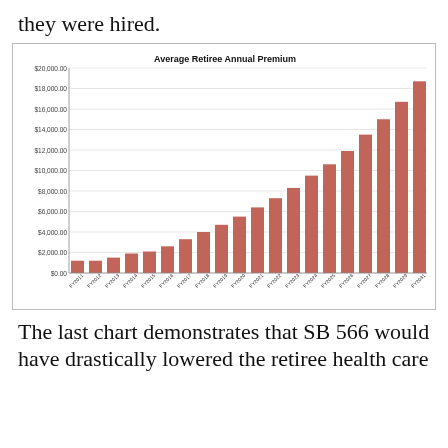they were hired.
[Figure (bar-chart): Average Retiree Annual Premium]
The last chart demonstrates that SB 566 would have drastically lowered the retiree health care